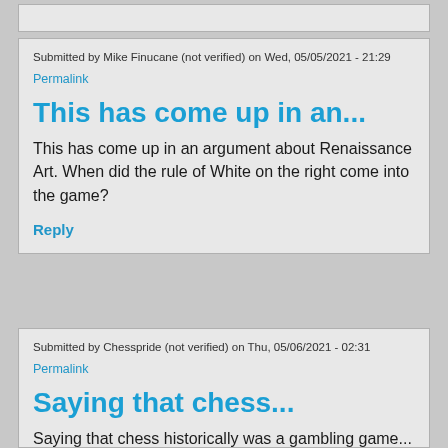Submitted by Mike Finucane (not verified) on Wed, 05/05/2021 - 21:29
Permalink
This has come up in an...
This has come up in an argument about Renaissance Art. When did the rule of White on the right come into the game?
Reply
Submitted by Chesspride (not verified) on Thu, 05/06/2021 - 02:31
Permalink
Saying that chess...
Saying that chess historically was a gambling game... is misleading. The law today in most jurisdictions specifically cites chess as a game of skill -- not gambling